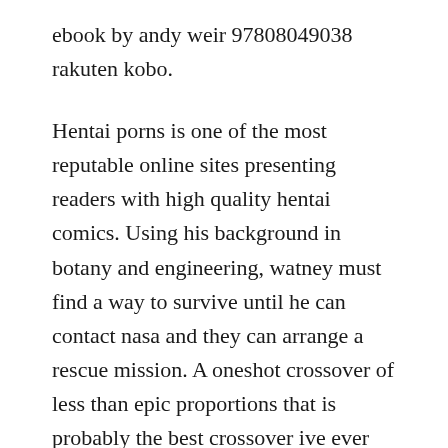ebook by andy weir 97808049038 rakuten kobo.
Hentai porns is one of the most reputable online sites presenting readers with high quality hentai comics. Using his background in botany and engineering, watney must find a way to survive until he can contact nasa and they can arrange a rescue mission. A oneshot crossover of less than epic proportions that is probably the best crossover ive ever read. A comic book initially by julian darius, kevin thurman, and sergio tarquini. Andy weir